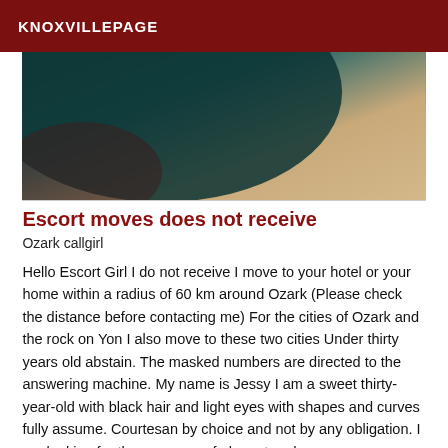KNOXVILLEPAGE
[Figure (photo): Partial blurred photo showing teal/dark fabric and beige background, cropped at top]
Escort moves does not receive
Ozark callgirl
Hello Escort Girl I do not receive I move to your hotel or your home within a radius of 60 km around Ozark (Please check the distance before contacting me) For the cities of Ozark and the rock on Yon I also move to these two cities Under thirty years old abstain. The masked numbers are directed to the answering machine. My name is Jessy I am a sweet thirty-year-old with black hair and light eyes with shapes and curves fully assume. Courtesan by choice and not by any obligation. I am looking for the company of elegant and